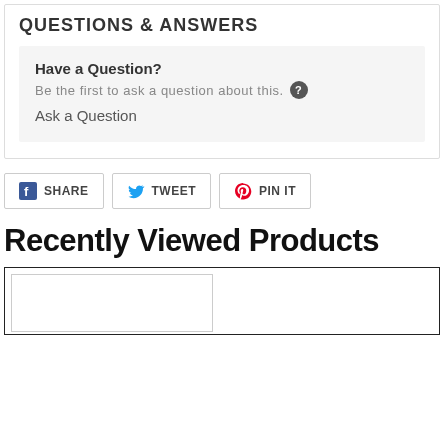QUESTIONS & ANSWERS
Have a Question?
Be the first to ask a question about this.
Ask a Question
SHARE
TWEET
PIN IT
Recently Viewed Products